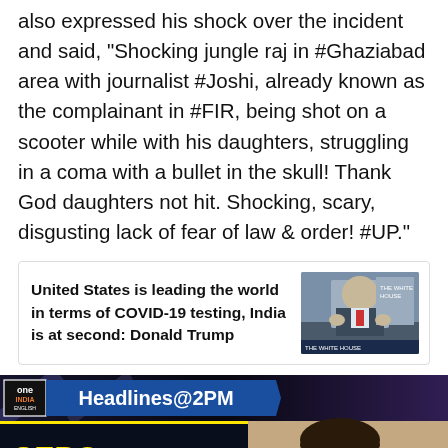also expressed his shock over the incident and said, "Shocking jungle raj in #Ghaziabad area with journalist #Joshi, already known as the complainant in #FIR, being shot on a scooter while with his daughters, struggling in a coma with a bullet in the skull! Thank God daughters not hit. Shocking, scary, disgusting lack of fear of law & order! #UP."
United States is leading the world in terms of COVID-19 testing, India is at second: Donald Trump
[Figure (screenshot): News video thumbnail showing 'one India Headlines@2PM' banner and text 'SERO SURVEILLANCE FROM THE 1st' with a person's face on the right and a play button overlay]